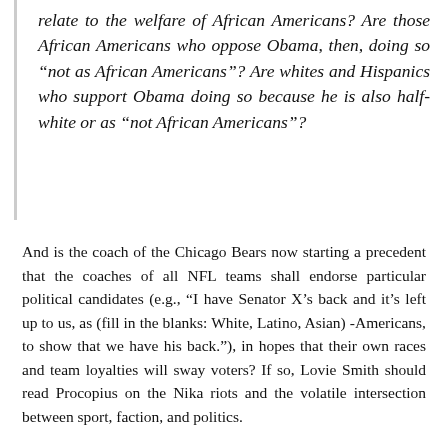relate to the welfare of African Americans? Are those African Americans who oppose Obama, then, doing so “not as African Americans”? Are whites and Hispanics who support Obama doing so because he is also half-white or as “not African Americans”?
And is the coach of the Chicago Bears now starting a precedent that the coaches of all NFL teams shall endorse particular political candidates (e.g., “I have Senator X’s back and it’s left up to us, as (fill in the blanks: White, Latino, Asian) -Americans, to show that we have his back.”), in hopes that their own races and team loyalties will sway voters? If so, Lovie Smith should read Procopius on the Nika riots and the volatile intersection between sport, faction, and politics.